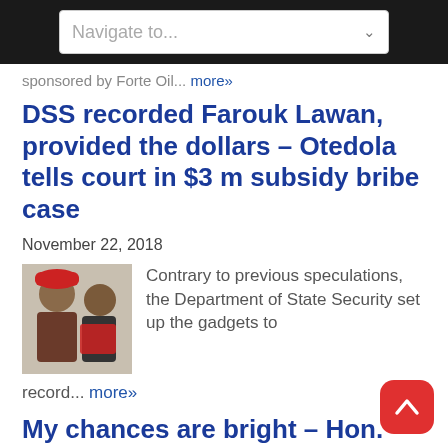Navigate to...
sponsored by Forte Oil... more»
DSS recorded Farouk Lawan, provided the dollars – Otedola tells court in $3 m subsidy bribe case
November 22, 2018
[Figure (photo): Photo of two men, one wearing a red cap]
Contrary to previous speculations, the Department of State Security set up the gadgets to record... more»
My chances are bright – Hon. Bayo Osinowo